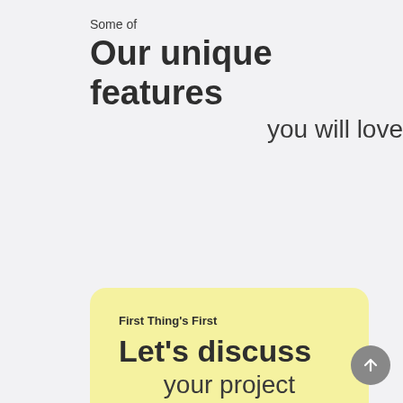Some of
Our unique features
you will love
First Thing's First
Let's discuss
your project